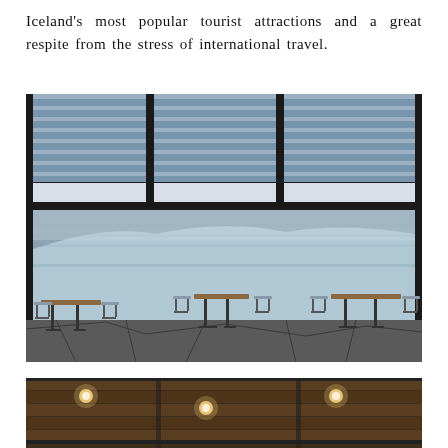Iceland's most popular tourist attractions and a great respite from the stress of international travel.
[Figure (photo): Interior of a modern café or restaurant with floor-to-ceiling windows overlooking the Blue Lagoon geothermal spa in Iceland. Tables and chairs are arranged on a dark stone-patterned floor, with horizontal blinds visible at the top of the large windows. Misty blue water and distant hills are visible through the glass.]
[Figure (photo): Partial view of a building interior ceiling with warm recessed lighting and wooden slat ceiling panels, appearing to be the same Blue Lagoon facility.]